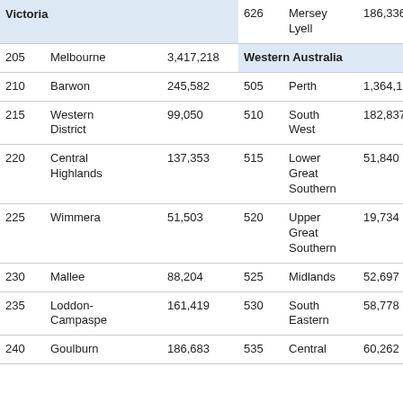| Code | Name | Population | Code | Name | Population |
| --- | --- | --- | --- | --- | --- |
|  | Victoria |  | 626 | Mersey Lyell | 186,336 |
| 205 | Melbourne | 3,417,218 |  | Western Australia |  |
| 210 | Barwon | 245,582 | 505 | Perth | 1,364,188 |
| 215 | Western District | 99,050 | 510 | South West | 182,837 |
| 220 | Central Highlands | 137,353 | 515 | Lower Great Southern | 51,840 |
| 225 | Wimmera | 51,503 | 520 | Upper Great Southern | 19,734 |
| 230 | Mallee | 88,204 | 525 | Midlands | 52,697 |
| 235 | Loddon-Campaspe | 161,419 | 530 | South Eastern | 58,778 |
| 240 | Goulburn | 186,683 | 535 | Central | 60,262 |